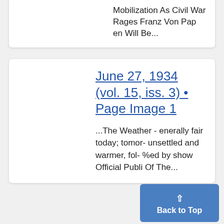Mobilization As Civil War Rages Franz Von Pap en Will Be...
June 27, 1934 (vol. 15, iss. 3) • Page Image 1
...The Weather - enerally fair today; tomor- unsettled and warmer, fol- %ed by show Official Publi Of The...